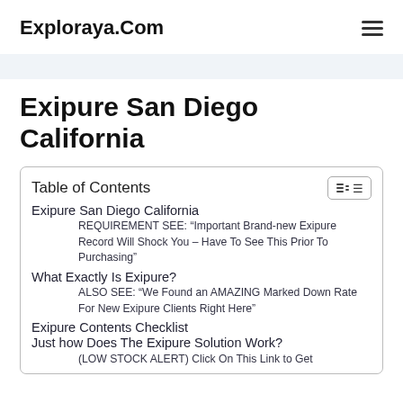Exploraya.Com
Exipure San Diego California
| Table of Contents |
| --- |
| Exipure San Diego California |
| REQUIREMENT SEE: “Important Brand-new Exipure Record Will Shock You – Have To See This Prior To Purchasing” |
| What Exactly Is Exipure? |
| ALSO SEE: “We Found an AMAZING Marked Down Rate For New Exipure Clients Right Here” |
| Exipure Contents Checklist |
| Just how Does The Exipure Solution Work? |
| (LOW STOCK ALERT) Click On This Link to Get |